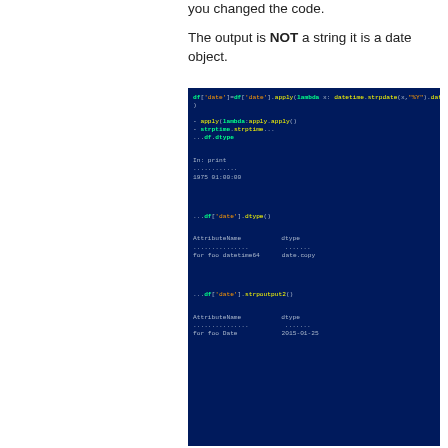you changed the code.
The output is NOT a string it is a date object.
[Figure (screenshot): Dark blue terminal/IDE screenshot showing Python code using datetime with apply() and output tables showing date columns. Multiple code snippets and tabular outputs visible with column headers like 'AttributeError', 'dtype', and date values like '2015-01-05', '2015-01-06'.]